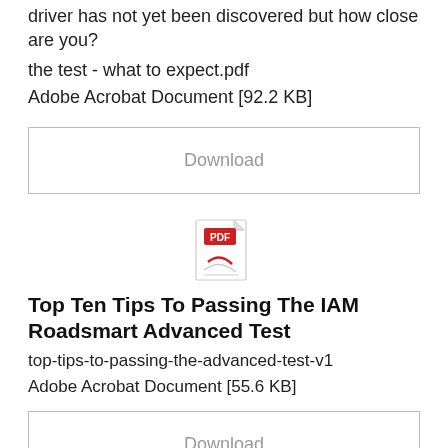driver has not yet been discovered but how close are you?
the test - what to expect.pdf
Adobe Acrobat Document [92.2 KB]
[Figure (screenshot): Download button with grey border and grey 'Download' text]
[Figure (illustration): Adobe Acrobat PDF icon with red PDF label badge]
Top Ten Tips To Passing The IAM Roadsmart Advanced Test
top-tips-to-passing-the-advanced-test-v1
Adobe Acrobat Document [55.6 KB]
[Figure (screenshot): Download button with grey border and grey 'Download' text]